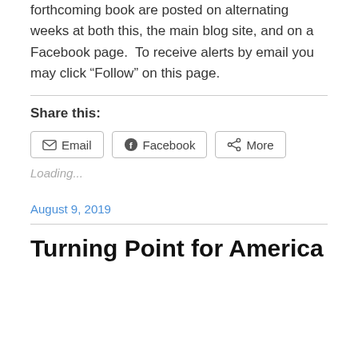forthcoming book are posted on alternating weeks at both this, the main blog site, and on a Facebook page.  To receive alerts by email you may click “Follow” on this page.
Share this:
Email  Facebook  More
Loading...
August 9, 2019
Turning Point for America